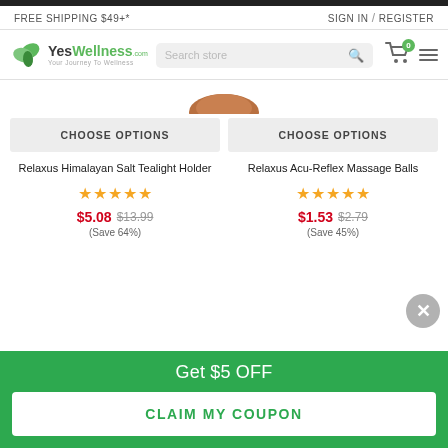FREE SHIPPING $49+*    SIGN IN / REGISTER
[Figure (screenshot): YesWellness.com logo with green leaves, tagline: Your Journey To Wellness, search bar, cart icon with 0 badge, hamburger menu]
[Figure (photo): Partial product image - brown round object (himalayan salt tealight holder)]
CHOOSE OPTIONS
CHOOSE OPTIONS
Relaxus Himalayan Salt Tealight Holder
Relaxus Acu-Reflex Massage Balls
★★★★★
★★★★★
$5.08  $13.99  (Save 64%)
$1.53  $2.79  (Save 45%)
Get $5 OFF
CLAIM MY COUPON